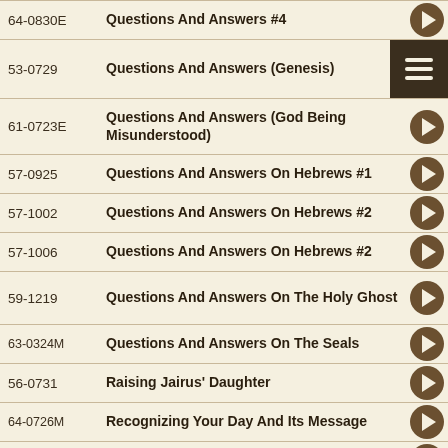64-0830E  Questions And Answers #4
53-0729  Questions And Answers (Genesis)
61-0723E  Questions And Answers (God Being Misunderstood)
57-0925  Questions And Answers On Hebrews #1
57-1002  Questions And Answers On Hebrews #2
57-1006  Questions And Answers On Hebrews #2
59-1219  Questions And Answers On The Holy Ghost
63-0324M  Questions And Answers On The Seals
56-0731  Raising Jairus' Daughter
64-0726M  Recognizing Your Day And Its Message
55-1119  Redemption
54-1114  Redemption By Judgment
54-0329  Redemption By Power
54-0330  Redemption In Completeness, In Joy